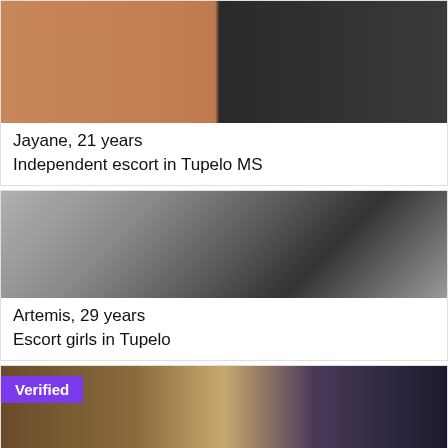[Figure (photo): Partial body photo with skin-toned and dark background split]
Jayane, 21 years
Independent escort in Tupelo MS
[Figure (photo): Grayscale photo of a woman sitting on a chair in lingerie, face obscured with orange circle]
Artemis, 29 years
Escort girls in Tupelo
[Figure (photo): Partial photo showing blonde hair, with a Verified badge overlay]